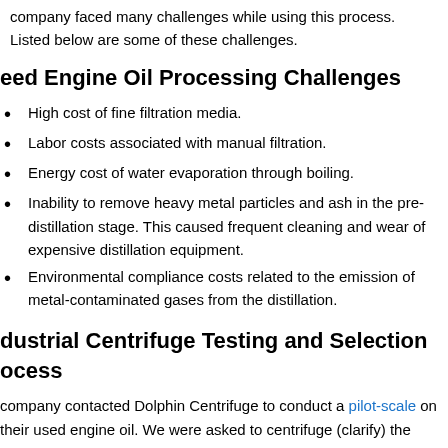company faced many challenges while using this process. Listed below are some of these challenges.
Used Engine Oil Processing Challenges
High cost of fine filtration media.
Labor costs associated with manual filtration.
Energy cost of water evaporation through boiling.
Inability to remove heavy metal particles and ash in the pre-distillation stage. This caused frequent cleaning and wear of expensive distillation equipment.
Environmental compliance costs related to the emission of metal-contaminated gases from the distillation.
Industrial Centrifuge Testing and Selection Process
company contacted Dolphin Centrifuge to conduct a pilot-scale on their used engine oil. We were asked to centrifuge (clarify) the